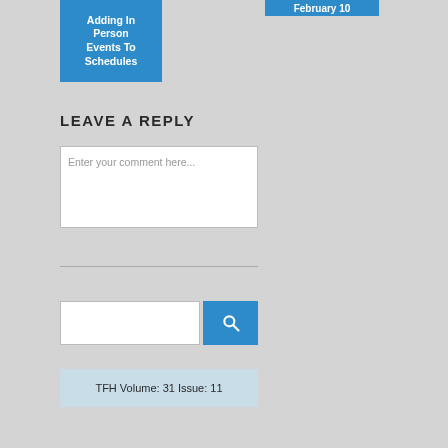[Figure (screenshot): Blue box with white text partially visible: 'Adding In Person Events To Schedules']
[Figure (screenshot): Blue box with white text partially visible: 'February 10']
LEAVE A REPLY
[Figure (screenshot): Comment text area with placeholder text 'Enter your comment here...']
[Figure (screenshot): Search input field with blue search button]
TFH Volume: 31 Issue: 11